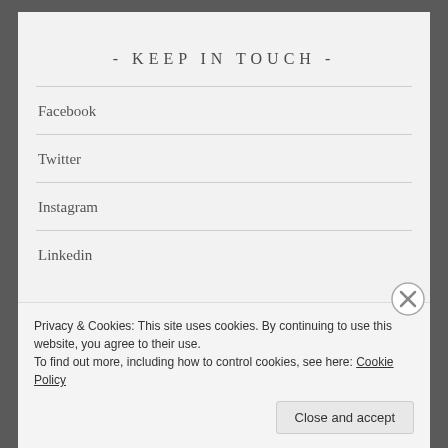- KEEP IN TOUCH -
Facebook
Twitter
Instagram
Linkedin
Privacy & Cookies: This site uses cookies. By continuing to use this website, you agree to their use.
To find out more, including how to control cookies, see here: Cookie Policy
Close and accept